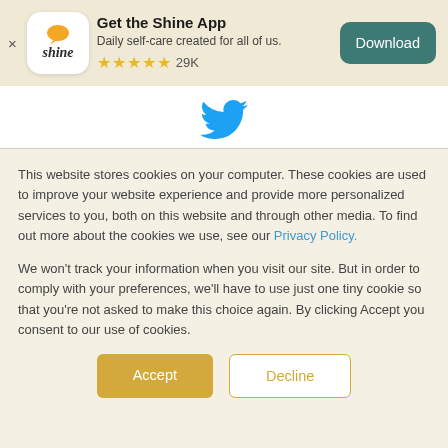[Figure (infographic): App store banner showing Shine app logo (white rounded square with 'shine' text and chat bubble icon), app title 'Get the Shine App', subtitle 'Daily self-care created for all of us.', five gold stars with '29K' review count, a close X button, and a teal Download button.]
[Figure (logo): Twitter bird logo in blue, centered below the app banner.]
This website stores cookies on your computer. These cookies are used to improve your website experience and provide more personalized services to you, both on this website and through other media. To find out more about the cookies we use, see our Privacy Policy.
We won't track your information when you visit our site. But in order to comply with your preferences, we'll have to use just one tiny cookie so that you're not asked to make this choice again. By clicking Accept you consent to our use of cookies.
Accept
Decline